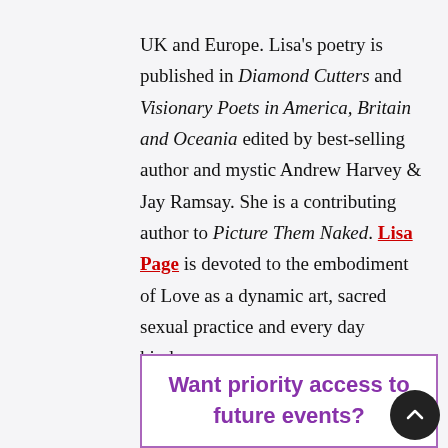UK and Europe. Lisa's poetry is published in Diamond Cutters and Visionary Poets in America, Britain and Oceania edited by best-selling author and mystic Andrew Harvey & Jay Ramsay. She is a contributing author to Picture Them Naked. Lisa Page is devoted to the embodiment of Love as a dynamic art, sacred sexual practice and every day kindness.
Want priority access to future events?